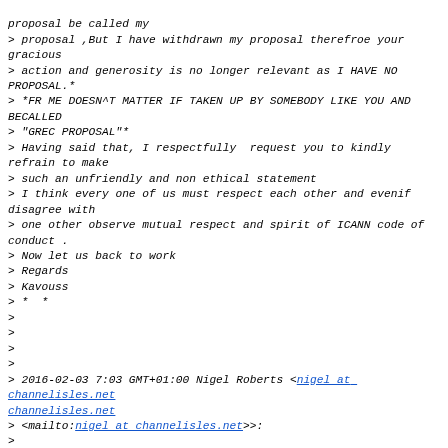> proposal ,But I have withdrawn my proposal therefroe your gracious
> action and generosity is no longer relevant as I HAVE NO PROPOSAL.*
> *FR ME DOESN^T MATTER IF TAKEN UP BY SOMEBODY LIKE YOU AND  BECALLED
> "GREC PROPOSAL"*
> Having said that, I respectfully  request you to kindly refrain to make
> such an unfriendly and non ethical statement
> I think every one of us must respect each other and evenif disagree with
> one other observe mutual respect and spirit of ICANN code of conduct .
> Now let us back to work
> Regards
> Kavouss
> *  *
>
>
>
>
> 2016-02-03 7:03 GMT+01:00 Nigel Roberts <nigel at channelisles.net
> <mailto:nigel at channelisles.net>>:
>
>       Kavouss
>
>       Thank you for using a blank line between
paragraphs in your latest